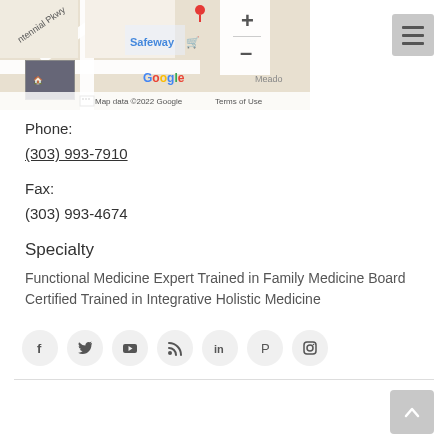[Figure (map): Google Maps screenshot showing area near Centennial Pkwy with Safeway visible, map data 2022 Google, Terms of Use shown]
Phone:
(303) 993-7910
Fax:
(303) 993-4674
Specialty
Functional Medicine Expert Trained in Family Medicine Board Certified Trained in Integrative Holistic Medicine
[Figure (infographic): Social media icons row: Facebook, Twitter, YouTube, RSS, LinkedIn, Pinterest, Instagram]